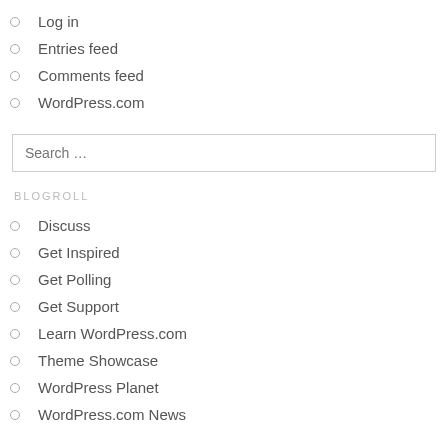Log in
Entries feed
Comments feed
WordPress.com
BLOGROLL
Discuss
Get Inspired
Get Polling
Get Support
Learn WordPress.com
Theme Showcase
WordPress Planet
WordPress.com News